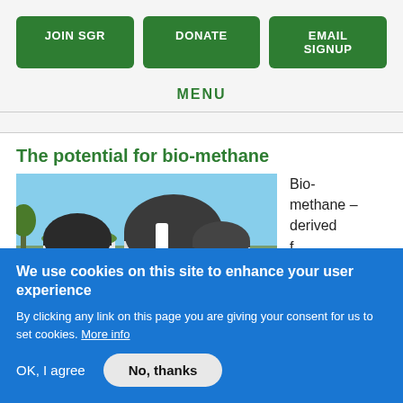JOIN SGR | DONATE | EMAIL SIGNUP
MENU
The potential for bio-methane
[Figure (photo): Biogas facility with large dark dome-shaped structures against a blue sky, with green vegetation visible.]
Bio-methane – derived f…
We use cookies on this site to enhance your user experience
By clicking any link on this page you are giving your consent for us to set cookies. More info
OK, I agree
No, thanks